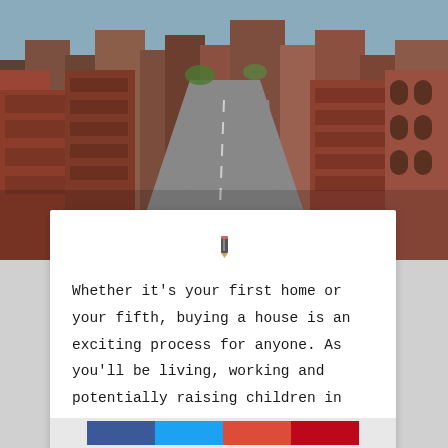[Figure (photo): Aerial/street-level view of a dense urban area with brick buildings lining a busy street, New York City style.]
Whether it's your first home or your fifth, buying a house is an exciting process for anyone. As you'll be living, working and potentially raising children in the area however, location is a decision you won't want to take lightly.   Home ownership has in fact dropped further in the UK than any other EU country …